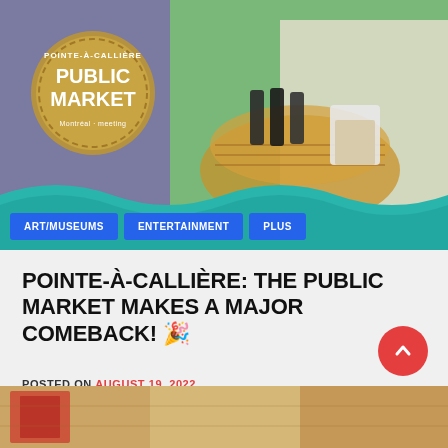[Figure (photo): Hero image of a public market scene with people, baskets, and market goods. Overlaid with a gold circular badge reading 'POINTE-À-CALLIÈRE PUBLIC MARKET' and a teal wave design at the bottom. Navigation buttons for ART/MUSEUMS, ENTERTAINMENT, and PLUS in blue.]
POINTE-À-CALLIÈRE: THE PUBLIC MARKET MAKES A MAJOR COMEBACK! 🎉
POSTED ON AUGUST 19, 2022
[Figure (photo): Partial bottom strip showing a warm-toned market or textile scene with red patterns.]